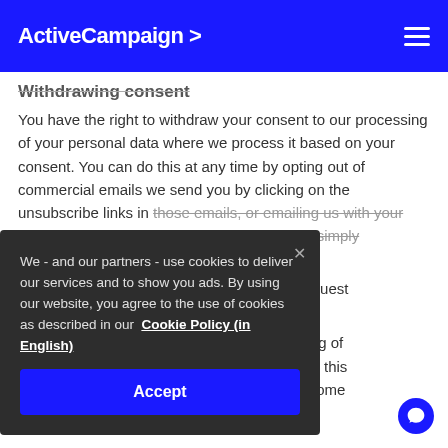ActiveCampaign >
Withdrawing consent
You have the right to withdraw your consent to our processing of your personal data where we process it based on your consent. You can do this at any time by opting out of commercial emails we send you by clicking on the unsubscribe links in those emails, or emailing us with your request to privacy@activecampaign.com, by simply deleting your account, or by emailing privacy@activecampaign.com to request that your personal data be deleted.
We - and our partners - use cookies to deliver our services and to show you ads. By using our website, you agree to the use of cookies as described in our Cookie Policy (in English)
If you withdraw your consent to the processing of your personal data for the purposes set out in this Privacy Policy, you may not have access to some